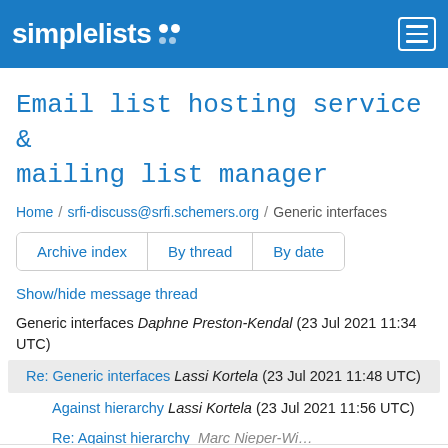simplelists
Email list hosting service & mailing list manager
Home / srfi-discuss@srfi.schemers.org / Generic interfaces
Archive index | By thread | By date
Show/hide message thread
Generic interfaces Daphne Preston-Kendal (23 Jul 2021 11:34 UTC)
Re: Generic interfaces Lassi Kortela (23 Jul 2021 11:48 UTC)
Against hierarchy Lassi Kortela (23 Jul 2021 11:56 UTC)